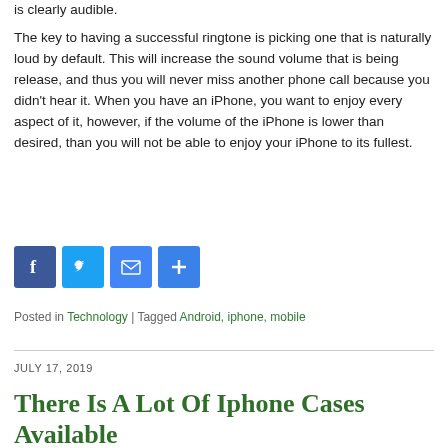is clearly audible.
The key to having a successful ringtone is picking one that is naturally loud by default. This will increase the sound volume that is being release, and thus you will never miss another phone call because you didn't hear it. When you have an iPhone, you want to enjoy every aspect of it, however, if the volume of the iPhone is lower than desired, than you will not be able to enjoy your iPhone to its fullest.
[Figure (other): Social sharing buttons: Facebook, Twitter, Email, and a plus/share button]
Posted in Technology | Tagged Android, iphone, mobile
JULY 17, 2019
There Is A Lot Of Iphone Cases Available